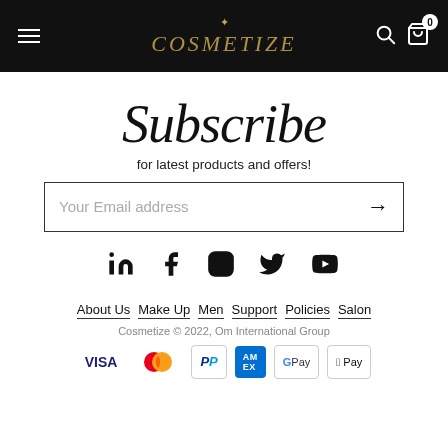[Figure (screenshot): Black navigation header with hamburger menu on left, stylized 'COSMETIZE' brand logo in center with decorative icon, search and shopping bag icons with count badge '0' on right]
Subscribe
for latest products and offers!
[Figure (other): Email subscription input field with placeholder 'Your Email address' and right arrow button]
[Figure (other): Row of social media icons: LinkedIn, Facebook, Instagram, Twitter, YouTube]
About Us
Make Up
Men
Support
Policies
Salon
Cosmetize © 2022, Om International Group
[Figure (other): Payment method icons: VISA, Mastercard, PayPal, AMEX, Google Pay, Apple Pay]